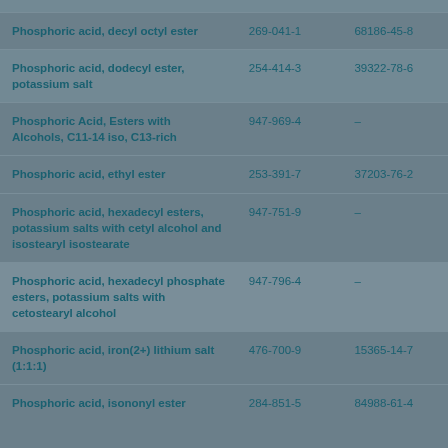| Substance Name | EC Number | CAS Number |
| --- | --- | --- |
| Phosphoric acid, decyl octyl ester | 269-041-1 | 68186-45-8 |
| Phosphoric acid, dodecyl ester, potassium salt | 254-414-3 | 39322-78-6 |
| Phosphoric Acid, Esters with Alcohols, C11-14 iso, C13-rich | 947-969-4 | – |
| Phosphoric acid, ethyl ester | 253-391-7 | 37203-76-2 |
| Phosphoric acid, hexadecyl esters, potassium salts with cetyl alcohol and isostearyl isostearate | 947-751-9 | – |
| Phosphoric acid, hexadecyl phosphate esters, potassium salts with cetostearyl alcohol | 947-796-4 | – |
| Phosphoric acid, iron(2+) lithium salt (1:1:1) | 476-700-9 | 15365-14-7 |
| Phosphoric acid, isononyl ester | 284-851-5 | 84988-61-4 |